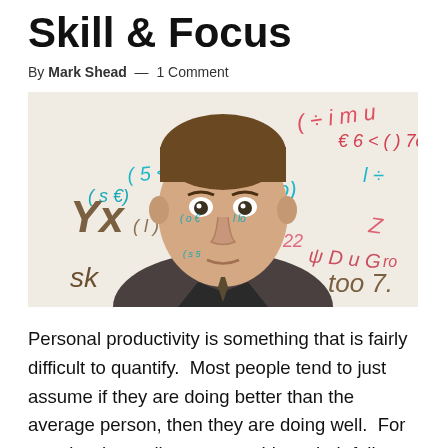Skill & Focus
By Mark Shead — 1 Comment
[Figure (photo): A young man in a dark suit and tie looking directly at the camera, with colorful mathematical equations and symbols written across his face and in the background on a whiteboard.]
Personal productivity is something that is fairly difficult to quantify.  Most people tend to just assume if they are doing better than the average person, then they are doing well.  For people who really want to achieve their full potential, simply comparing themselves with others isn't particularly rewarding because it doesn't say anything